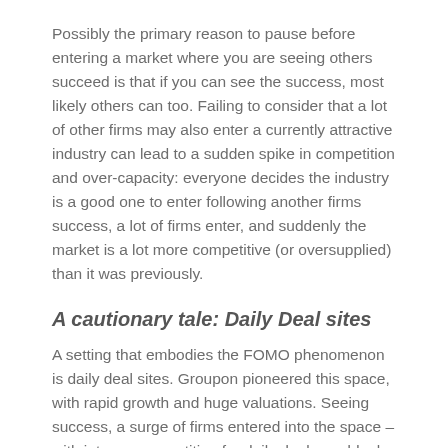Possibly the primary reason to pause before entering a market where you are seeing others succeed is that if you can see the success, most likely others can too. Failing to consider that a lot of other firms may also enter a currently attractive industry can lead to a sudden spike in competition and over-capacity: everyone decides the industry is a good one to enter following another firms success, a lot of firms enter, and suddenly the market is a lot more competitive (or oversupplied) than it was previously.
A cautionary tale: Daily Deal sites
A setting that embodies the FOMO phenomenon is daily deal sites. Groupon pioneered this space, with rapid growth and huge valuations. Seeing success, a surge of firms entered into the space – with intense competition for daily deals, suddenly it is very difficult for any firm to compete.